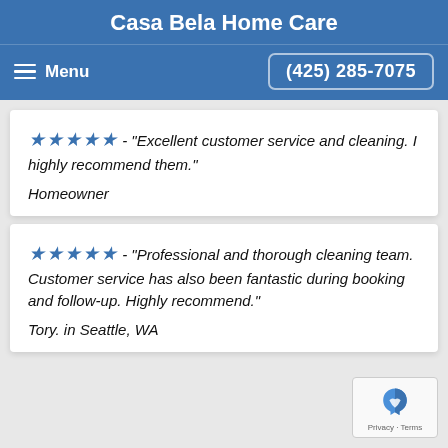Casa Bela Home Care
Menu   (425) 285-7075
★★★★★ - "Excellent customer service and cleaning. I highly recommend them."
Homeowner
★★★★★ - "Professional and thorough cleaning team. Customer service has also been fantastic during booking and follow-up. Highly recommend."
Tory. in Seattle, WA